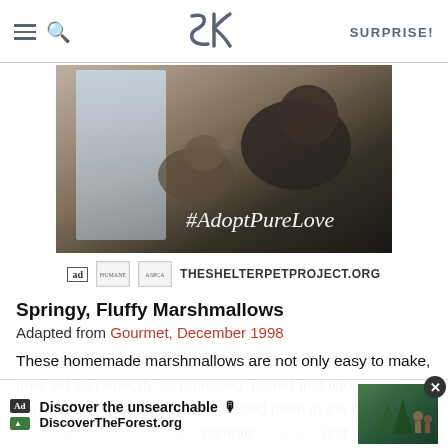SK | SURPRISE!
[Figure (photo): Photo of a man holding a cat near a window with text #AdoptPureLove and ad logos for THESHELTERPETPROJECT.ORG]
Springy, Fluffy Marshmallows
Adapted from Gourmet, December 1998
These homemade marshmallows are not only easy to make, they set as perfectly as promised: puffed and lightweight, bouncing off one another as I tossed them in the c... campfir... and
[Figure (screenshot): Bottom ad overlay: Discover the unsearchable | DiscoverTheForest.org with forest photo and close button]